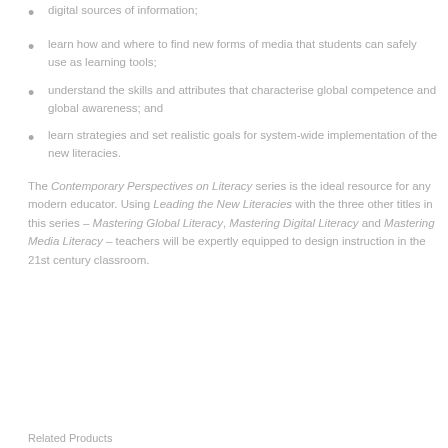digital sources of information;
learn how and where to find new forms of media that students can safely use as learning tools;
understand the skills and attributes that characterise global competence and global awareness; and
learn strategies and set realistic goals for system-wide implementation of the new literacies.
The Contemporary Perspectives on Literacy series is the ideal resource for any modern educator. Using Leading the New Literacies with the three other titles in this series – Mastering Global Literacy, Mastering Digital Literacy and Mastering Media Literacy – teachers will be expertly equipped to design instruction in the 21st century classroom.